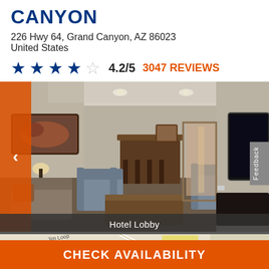CANYON
226 Hwy 64, Grand Canyon, AZ 86023
United States
4.2/5   3047 REVIEWS
[Figure (photo): Hotel lobby interior with armchairs, sofa, wall art, and TV mounted on wall.]
Hotel Lobby
[Figure (map): Street map showing area near Grand Canyon hotel]
CHECK AVAILABILITY